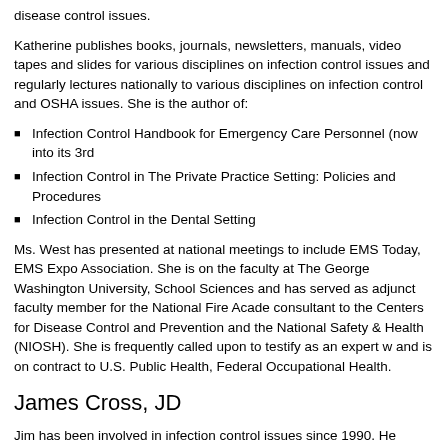disease control issues.
Katherine publishes books, journals, newsletters, manuals, video tapes and slides for various disciplines on infection control issues and regularly lectures nationally to various disciplines on infection control and OSHA issues. She is the author of:
Infection Control Handbook for Emergency Care Personnel (now into its 3rd
Infection Control in The Private Practice Setting: Policies and Procedures
Infection Control in the Dental Setting
Ms. West has presented at national meetings to include EMS Today, EMS Expo Association. She is on the faculty at The George Washington University, School Sciences and has served as adjunct faculty member for the National Fire Acade consultant to the Centers for Disease Control and Prevention and the National Safety & Health (NIOSH). She is frequently called upon to testify as an expert w and is on contract to U.S. Public Health, Federal Occupational Health.
James Cross, JD
Jim has been involved in infection control issues since 1990. He practices in the field of discrimination and employment law. He taught EMS and the Law at George Washington University in Washington, DC, and has written and published numerous articles in the field of infection control and EMS.